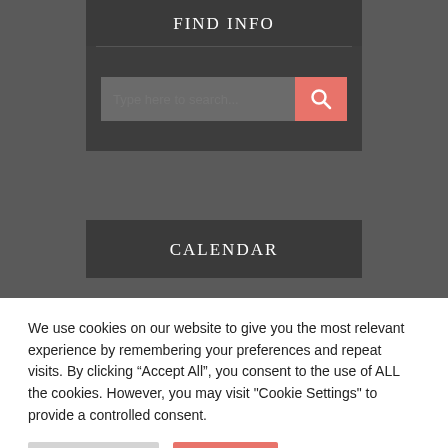FIND INFO
[Figure (screenshot): Search input field with placeholder text 'Type here to search...' and a coral/salmon colored search button with magnifying glass icon]
CALENDAR
We use cookies on our website to give you the most relevant experience by remembering your preferences and repeat visits. By clicking “Accept All”, you consent to the use of ALL the cookies. However, you may visit "Cookie Settings" to provide a controlled consent.
Cookie Settings | Accept All